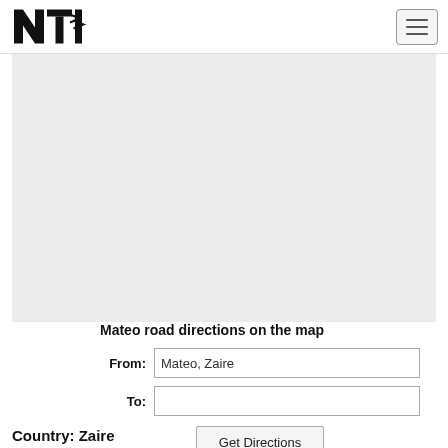[Figure (logo): NTI logo — stylized black letters N, T, I with speed-line arrows]
[Figure (map): Gray placeholder map area showing Mateo, Zaire region]
Mateo road directions on the map
From: Mateo, Zaire
To:
Get Directions
Country: Zaire